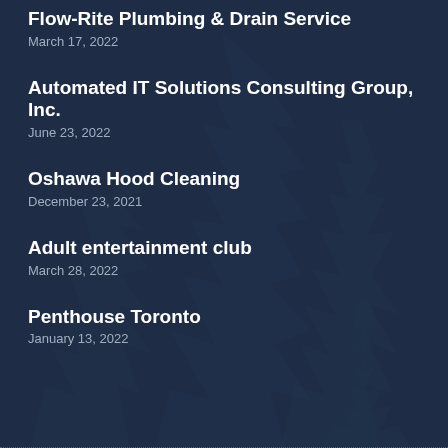Flow-Rite Plumbing & Drain Service
March 17, 2022
Automated IT Solutions Consulting Group, Inc.
June 23, 2022
Oshawa Hood Cleaning
December 23, 2021
Adult entertainment club
March 28, 2022
Penthouse Toronto
January 13, 2022